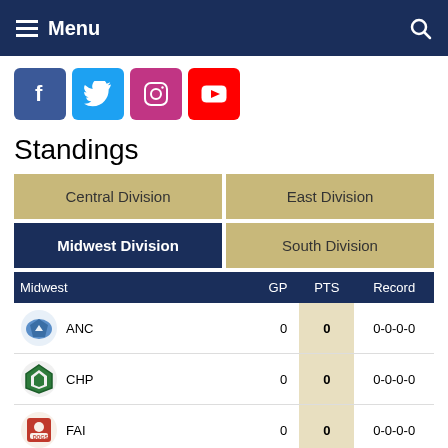Menu
[Figure (illustration): Social media icons: Facebook, Twitter, Instagram, YouTube]
Standings
| Central Division | East Division | Midwest Division | South Division |
| --- | --- | --- | --- |
| Midwest | GP | PTS | Record |
| --- | --- | --- | --- |
| ANC | 0 | 0 | 0-0-0-0 |
| CHP | 0 | 0 | 0-0-0-0 |
| FAI | 0 | 0 | 0-0-0-0 |
| JNE | 0 | 0 | 0-0-0-0 |